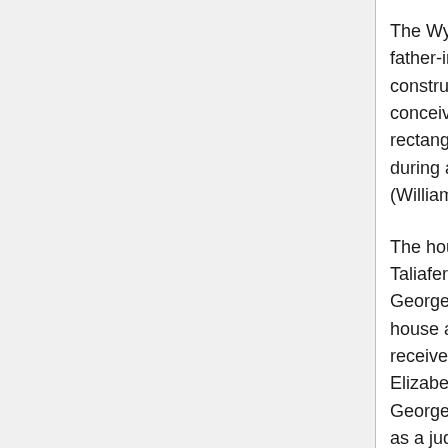The Wythe House once belonged to George Wythe's father-in-law, Richard Taliaferro. The house was constructed between 1752 to 1754 and was conceived as a whole with no additions made to the rectangular two story structure. The house was built during a period of time when the Governor's Palace (Williamsburg, Virginia) was being renovated.
The house remained as the sole household of Taliaferro when his daughter Elizabeth married George Wythe in 1755. The couple received the house as a wedding present from Taliafero and they received a life tenancy upon his death in 1779. Elizabeth lived here until her death in 1787, and George moved to Richmond, Virginia in 1791 to serve as a judge.